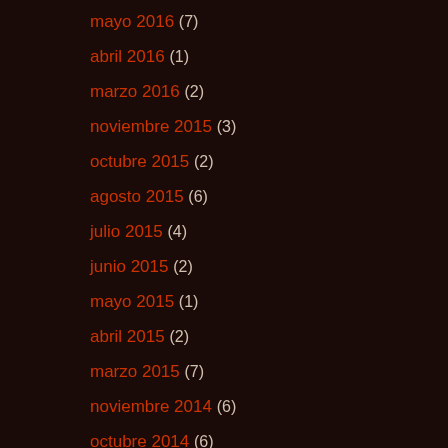mayo 2016 (7)
abril 2016 (1)
marzo 2016 (2)
noviembre 2015 (3)
octubre 2015 (2)
agosto 2015 (6)
julio 2015 (4)
junio 2015 (2)
mayo 2015 (1)
abril 2015 (2)
marzo 2015 (7)
noviembre 2014 (6)
octubre 2014 (6)
septiembre 2014 (1)
agosto 2014 (2)